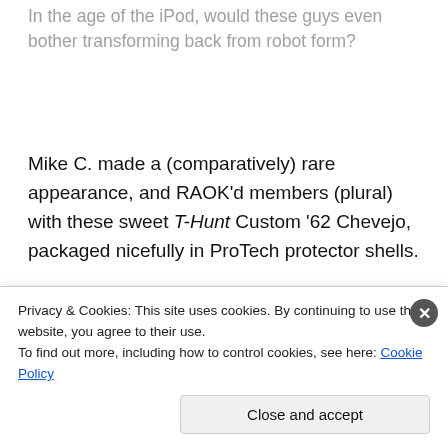In the age of the iPod, would these guys even bother transforming back from robot form?
Mike C. made a (comparatively) rare appearance, and RAOK'd members (plural) with these sweet T-Hunt Custom '62 Chevejo, packaged nicefully in ProTech protector shells.
[Figure (photo): Partial image showing blue gridded surface and golden circular object at top, with red and dark bars at bottom]
Privacy & Cookies: This site uses cookies. By continuing to use this website, you agree to their use.
To find out more, including how to control cookies, see here: Cookie Policy